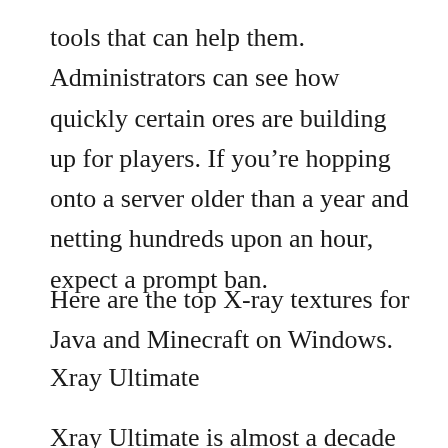tools that can help them. Administrators can see how quickly certain ores are building up for players. If you’re hopping onto a server older than a year and netting hundreds upon an hour, expect a prompt ban.
Here are the top X-ray textures for Java and Minecraft on Windows.
Xray Ultimate
Xray Ultimate is almost a decade old,